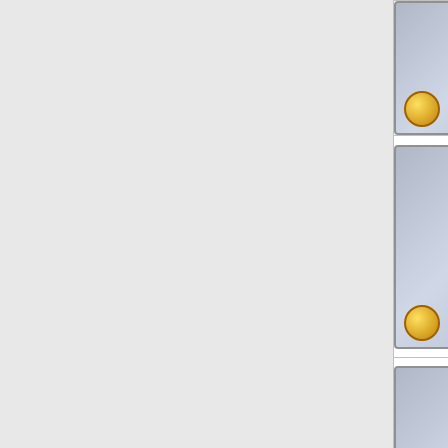| Item | Name | Rarity | Element | Extra |
| --- | --- | --- | --- | --- |
| [image] | Relic |  |  |  |
| [Pearl Lance image] | Pearl Lance Relic | SR | Gold/Pearl |  |
| [Pearl Staff image] | Pearl Staff Relic | SR | Gold/Pearl |  |
| [Ruby Axe image] | Ruby Axe Relic | SR | Fire/Ruby |  |
| [Ruby Bow image] | Ruby Bow Relic | SR | Fire/Ruby |  |
| [Ruby Dagger image] | Ruby Dagger Relic | SR | Fire/Ruby |  |